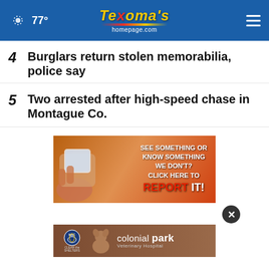77° Texoma's homepage.com
4  Burglars return stolen memorabilia, police say
5  Two arrested after high-speed chase in Montague Co.
[Figure (infographic): Advertisement banner: hand holding phone with text 'SEE SOMETHING OR KNOW SOMETHING WE DON'T? CLICK HERE TO REPORT IT!']
[Figure (infographic): Colonial Park Veterinary Hospital advertisement with NBC Clear the Shelters logo and puppy photo]